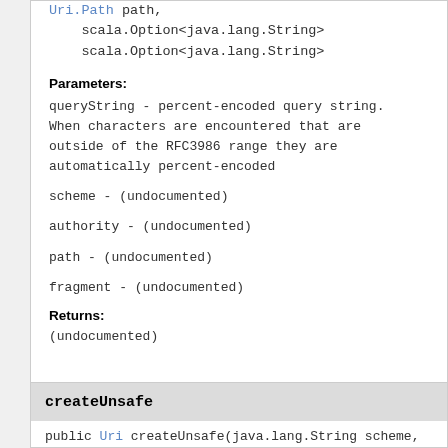Uri.Path path,
    scala.Option<java.lang.String>
    scala.Option<java.lang.String>
Parameters:
queryString - percent-encoded query string. When characters are encountered that are outside of the RFC3986 range they are automatically percent-encoded
scheme - (undocumented)
authority - (undocumented)
path - (undocumented)
fragment - (undocumented)
Returns:
(undocumented)
createUnsafe
public Uri createUnsafe(java.lang.String scheme,
    Uri.Authority authority